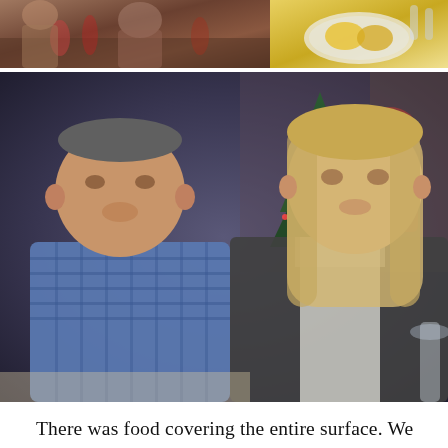[Figure (photo): Two photos at the top of the page: left shows people dining at a table with food and drinks, right shows a plate with yellow decorative items/food]
[Figure (photo): Photo of a man and woman sitting together at what appears to be a Christmas/holiday party. A decorated Christmas tree is visible in the background. The man wears a blue and white checkered shirt; the woman has blonde hair and wears a dark jacket over a white shirt.]
There was food covering the entire surface. We generously helped ourselves to dishes of caviar or smoked fish and quail eggs on bread. There was a huge platter of olives, pickled tomatoes, stuffed peppers, salted cucumbers, garlic and mushrooms. There was perch